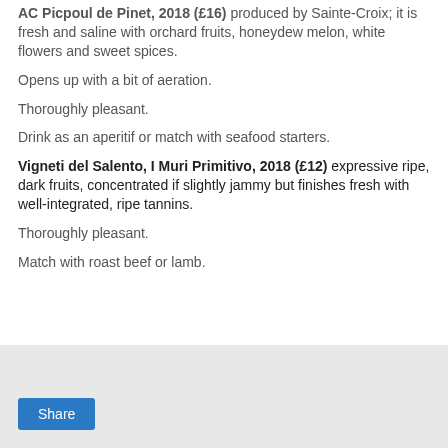AC Picpoul de Pinet, 2018 (£16) produced by Sainte-Croix; it is fresh and saline with orchard fruits, honeydew melon, white flowers and sweet spices.
Opens up with a bit of aeration.
Thoroughly pleasant.
Drink as an aperitif or match with seafood starters.
Vigneti del Salento, I Muri Primitivo, 2018 (£12) expressive ripe, dark fruits, concentrated if slightly jammy but finishes fresh with well-integrated, ripe tannins.
Thoroughly pleasant.
Match with roast beef or lamb.
[Figure (other): Gray box with a Share button]